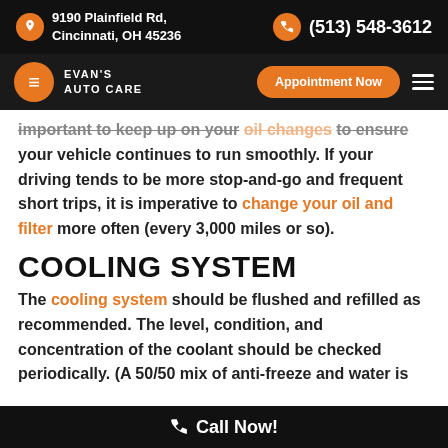9190 Plainfield Rd, Cincinnati, OH 45236 | (513) 548-3612
[Figure (logo): Evan's Auto Care logo with orange circle E icon and Appointment Now button and hamburger menu]
important to keep up on your oil changes to ensure your vehicle continues to run smoothly. If your driving tends to be more stop-and-go and frequent short trips, it is imperative to change your oil and filter more often (every 3,000 miles or so).
COOLING SYSTEM
The cooling system should be flushed and refilled as recommended. The level, condition, and concentration of the coolant should be checked periodically. (A 50/50 mix of anti-freeze and water is generally recommended.) Distilled water...
Call Now!